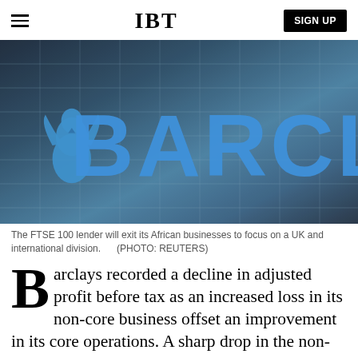IBT | SIGN UP
[Figure (photo): Barclays bank building exterior showing large blue Barclays logo letters and eagle emblem on a grey tiled facade]
The FTSE 100 lender will exit its African businesses to focus on a UK and international division.      (PHOTO: REUTERS)
Barclays recorded a decline in adjusted profit before tax as an increased loss in its non-core business offset an improvement in its core operations. A sharp drop in the non-core operations